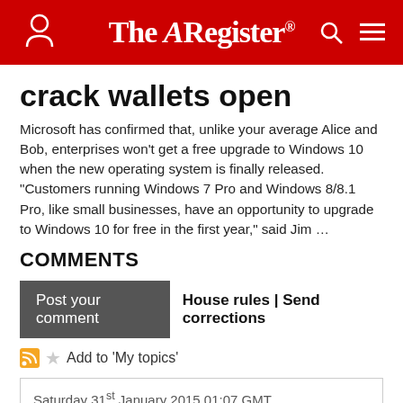The Register
crack wallets open
Microsoft has confirmed that, unlike your average Alice and Bob, enterprises won't get a free upgrade to Windows 10 when the new operating system is finally released. "Customers running Windows 7 Pro and Windows 8/8.1 Pro, like small businesses, have an opportunity to upgrade to Windows 10 for free in the first year," said Jim …
COMMENTS
Post your comment | House rules | Send corrections
Add to 'My topics'
Saturday 31st January 2015 01:07 GMT
joed
Report abuse
True definition of "locked in"